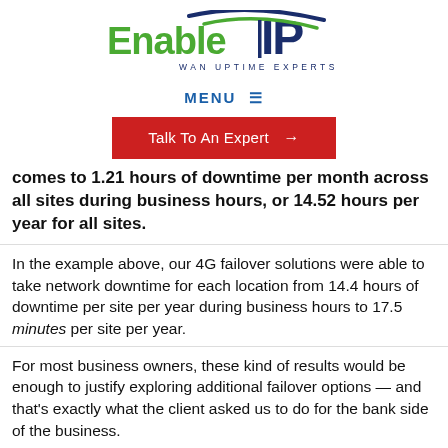[Figure (logo): Enable IP logo with tagline WAN UPTIME EXPERTS]
MENU ≡
Talk To An Expert →
comes to 1.21 hours of downtime per month across all sites during business hours, or 14.52 hours per year for all sites.
In the example above, our 4G failover solutions were able to take network downtime for each location from 14.4 hours of downtime per site per year during business hours to 17.5 minutes per site per year.
For most business owners, these kind of results would be enough to justify exploring additional failover options — and that's exactly what the client asked us to do for the bank side of the business.